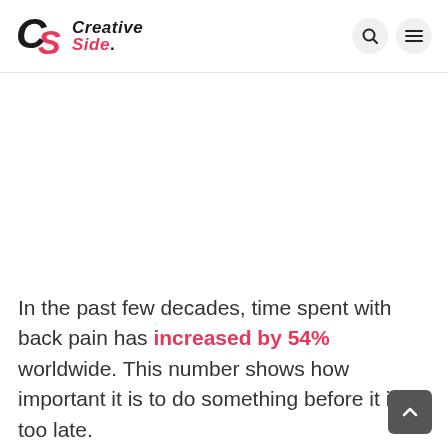CS Creative Side.
In the past few decades, time spent with back pain has increased by 54% worldwide. This number shows how important it is to do something before it is too late.